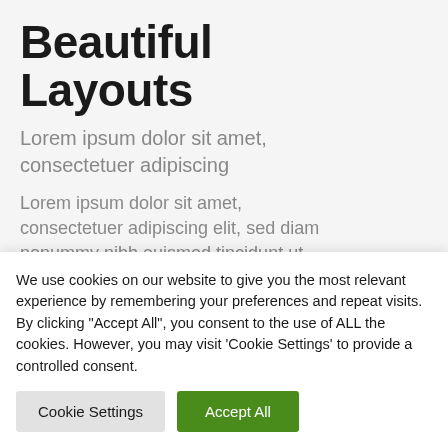Beautiful Layouts
Lorem ipsum dolor sit amet, consectetuer adipiscing
Lorem ipsum dolor sit amet, consectetuer adipiscing elit, sed diam nonummy nibh euismod tincidunt ut laoreet dolore magna aliquam erat volutpat. Ut wisi enim ad minim veniam
We use cookies on our website to give you the most relevant experience by remembering your preferences and repeat visits. By clicking "Accept All", you consent to the use of ALL the cookies. However, you may visit 'Cookie Settings' to provide a controlled consent.